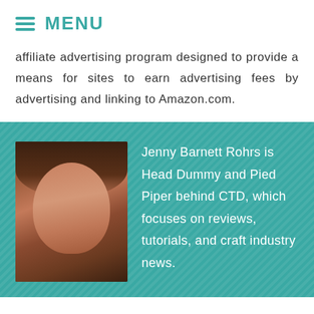MENU
affiliate advertising program designed to provide a means for sites to earn advertising fees by advertising and linking to Amazon.com.
[Figure (photo): Headshot photo of Jenny Barnett Rohrs, a woman with curly brown hair, smiling, wearing a black top, against a dark background.]
Jenny Barnett Rohrs is Head Dummy and Pied Piper behind CTD, which focuses on reviews, tutorials, and craft industry news.